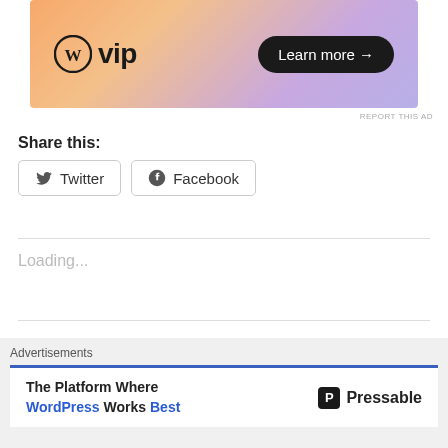[Figure (other): WordPress VIP advertisement banner with gradient background (orange to purple), WP logo and 'vip' text, and 'Learn more →' button]
REPORT THIS AD
Share this:
Twitter  Facebook
Loading...
Related
An Album a Day: Red (Deluxe Edition) by Taylor Swift
Advertisements
[Figure (other): Pressable advertisement: 'The Platform Where WordPress Works Best' with Pressable logo]